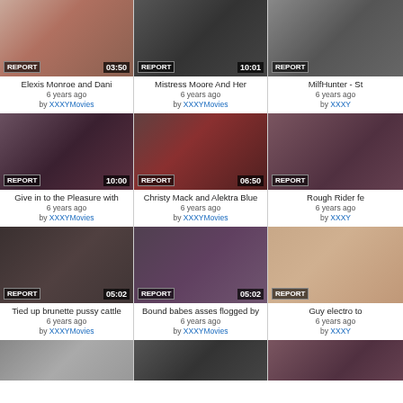[Figure (screenshot): Video thumbnail row 1 col 1 - 03:50]
Elexis Monroe and Dani
6 years ago
by XXXYMovies
[Figure (screenshot): Video thumbnail row 1 col 2 - 10:01]
Mistress Moore And Her
6 years ago
by XXXYMovies
[Figure (screenshot): Video thumbnail row 1 col 3 - truncated]
MilfHunter - St...
6 years ago
by XXXY...
[Figure (screenshot): Video thumbnail row 2 col 1 - 10:00]
Give in to the Pleasure with
6 years ago
by XXXYMovies
[Figure (screenshot): Video thumbnail row 2 col 2 - 06:50]
Christy Mack and Alektra Blue
6 years ago
by XXXYMovies
[Figure (screenshot): Video thumbnail row 2 col 3 - truncated]
Rough Rider fe...
6 years ago
by XXXY...
[Figure (screenshot): Video thumbnail row 3 col 1 - 05:02]
Tied up brunette pussy cattle
6 years ago
by XXXYMovies
[Figure (screenshot): Video thumbnail row 3 col 2 - 05:02]
Bound babes asses flogged by
6 years ago
by XXXYMovies
[Figure (screenshot): Video thumbnail row 3 col 3 - truncated]
Guy electro to...
6 years ago
by XXXY...